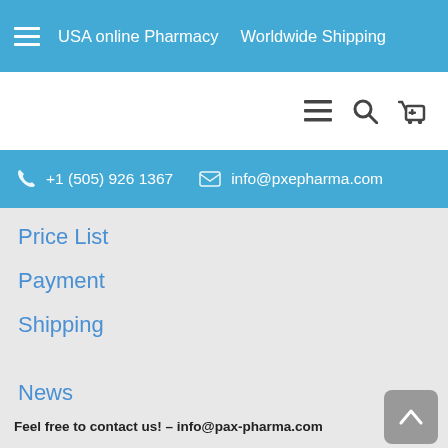USA online Pharmacy   Worldwide Shipping
[Figure (screenshot): Navigation bar with hamburger menu, search, and cart icons]
+1 (505) 926 1367   info@pxepharma.com
Price List
Payment
Shipping
News
Contact Us
Feel free to contact us! – info@pax-pharma.com